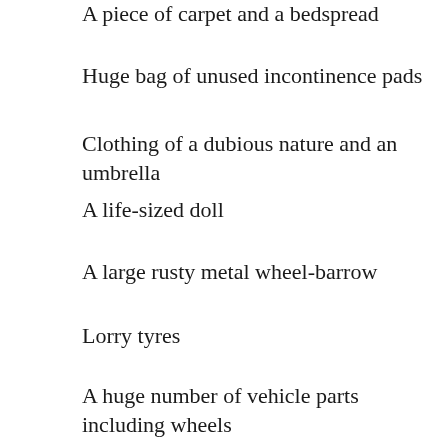A piece of carpet and a bedspread
Huge bag of unused incontinence pads
Clothing of a dubious nature and an umbrella
A life-sized doll
A large rusty metal wheel-barrow
Lorry tyres
A huge number of vehicle parts including wheels
25 litre drums that once held bleach or other chemicals